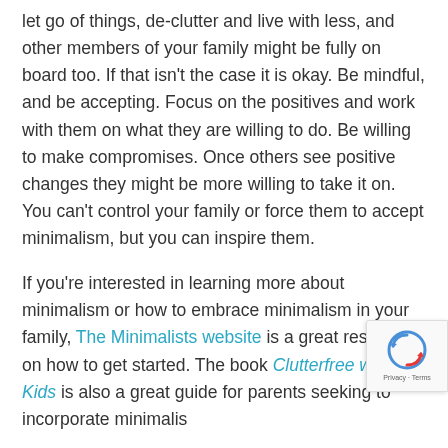let go of things, de-clutter and live with less, and other members of your family might be fully on board too. If that isn't the case it is okay. Be mindful, and be accepting. Focus on the positives and work with them on what they are willing to do. Be willing to make compromises. Once others see positive changes they might be more willing to take it on. You can't control your family or force them to accept minimalism, but you can inspire them.
If you're interested in learning more about minimalism or how to embrace minimalism in your family, The Minimalists website is a great resource on how to get started. The book Clutterfree with Kids is also a great guide for parents seeking to incorporate minimalis...
If you enjoyed this post, you might also like: